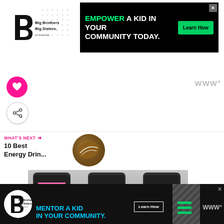[Figure (screenshot): Big Brothers Big Sisters of America logo — top left of page header]
[Figure (infographic): Advertisement banner: black background, text 'EMPOWER A KID IN YOUR COMMUNITY TODAY.' with green 'Learn How' button and X close button]
[Figure (screenshot): Floating pink heart button (favorite/like) on left side]
[Figure (screenshot): Floating white share button with share icon on left side]
[Figure (logo): WWW° wordmark logo top right]
WHAT'S NEXT →
10 Best Energy Drin...
[Figure (photo): Circular thumbnail image of football or sports-related photo]
[Figure (photo): Photo of three energy drink cans with labels visible]
[Figure (infographic): Bottom advertisement: dark background, Big Brothers Big Sisters logo, text 'MENTOR A KID IN YOUR COMMUNITY.' with 'Learn How' button, diagonal stripe pattern, green bars, and WWW° wordmark with X close button]